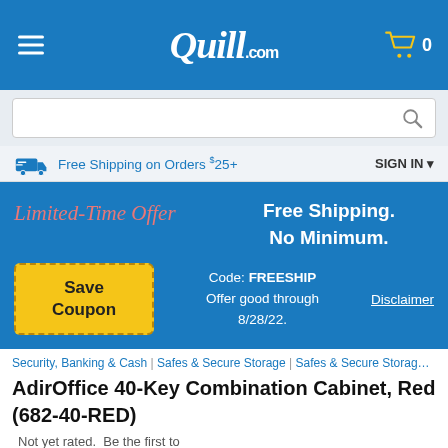[Figure (screenshot): Quill.com website header with hamburger menu, logo, and cart icon showing 0 items]
[Figure (screenshot): Search bar input field with magnifying glass icon]
Free Shipping on Orders $25+   SIGN IN
[Figure (infographic): Limited-Time Offer banner: Free Shipping. No Minimum. Save Coupon button with Code: FREESHIP, Offer good through 8/28/22. Disclaimer link]
Security, Banking & Cash | Safes & Secure Storage | Safes & Secure Storage | Saf
AdirOffice 40-Key Combination Cabinet, Red (682-40-RED)
Not yet rated.  Be the first to
Write a Review!
Item # 901-24491206    Model # 682-40-RED